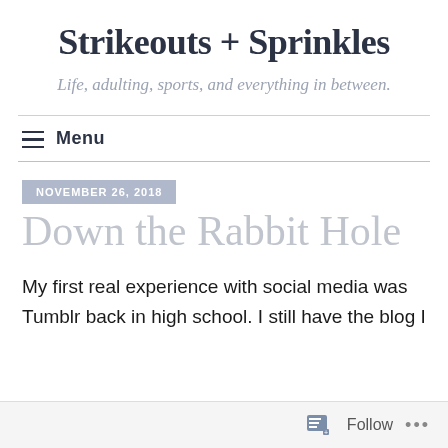Strikeouts + Sprinkles
Life, adulting, sports, and everything in between.
Menu
NOVEMBER 26, 2018
Down the Rabbit Hole
My first real experience with social media was Tumblr back in high school. I still have the blog I
Follow ...